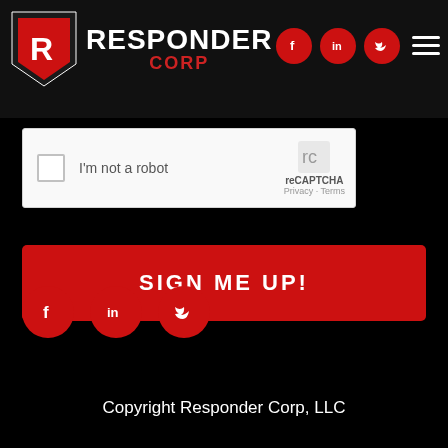[Figure (logo): Responder Corp logo with shield icon, social media icons (Facebook, LinkedIn, Twitter), and hamburger menu in dark header bar]
[Figure (screenshot): reCAPTCHA widget with checkbox and 'I'm not a robot' label]
Sign me up!
[Figure (illustration): Three red circular social media icons: Facebook, LinkedIn, Twitter]
Copyright Responder Corp, LLC